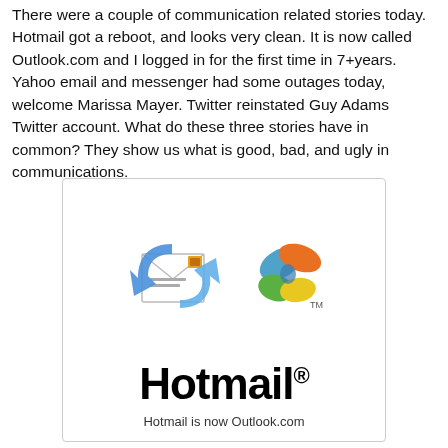There were a couple of communication related stories today. Hotmail got a reboot, and looks very clean. It is now called Outlook.com and I logged in for the first time in 7+years. Yahoo email and messenger had some outages today, welcome Marissa Mayer. Twitter reinstated Guy Adams Twitter account. What do these three stories have in common? They show us what is good, bad, and ugly in communications.
[Figure (logo): Hotmail logo with envelope icon with blue arrows and Windows butterfly logo, and text 'Hotmail is now Outlook.com']